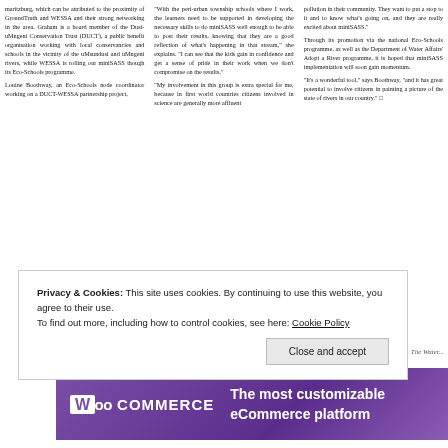maritzburg, which can be attributed to the proximity of GroundTruth and WESSA and their strong networking in the area. Graham is a board member of the Dusi-uMngeni Conservation Trust (DUCT), a public benefit organisation working with local conservancies and schools in the vicinity of the uMsundusi and uMngeni rivers, while WESSA is rolling out miniSASS though its Eco-Schools programme. Louine Boothway, an Eco-Schools node coordinator working on a DUCT-WESSA partnership project,
"With the peri-urban township schools where I work, the learners need to be supported in developing the necessary skills to do miniSASS well enough to be able to post their results, knowing that they are a good reflection of what's happening in that stream," she explains. "I can see that the kids gain in confidence and get a sense of pride in their work when we don't compromise on the results." "My involvement in this group is extra special for me, because in first world countries citizens involved in science are generally more affluent
pollution in their community. They want to put a stop to it and to know what's going on, and they are really excited about miniSASS." Through its promotion via the national Eco-Schools programme, as well as the Department of Water Affairs' Adopt a River programme, it is hoped that miniSASS implementation will soon gain momentum. "It's a wonderful tool," says Boothway, "and it has great potential to involve citizens in painting a picture of the state of rivers in our country."
The Water...
[Figure (screenshot): WooCommerce advertisement banner with purple gradient background, WooCommerce logo on left, text reading 'The most customizable eCommerce platform' on right]
Privacy & Cookies: This site uses cookies. By continuing to use this website, you agree to their use. To find out more, including how to control cookies, see here: Cookie Policy
Close and accept